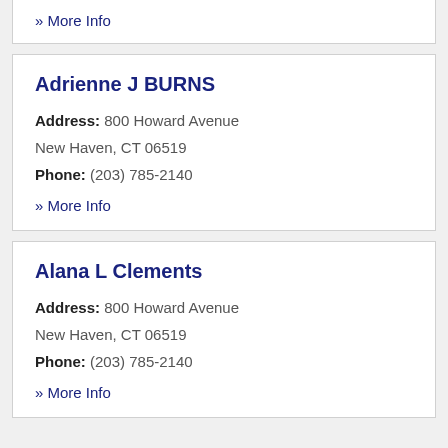» More Info
Adrienne J BURNS
Address: 800 Howard Avenue
New Haven, CT 06519
Phone: (203) 785-2140
» More Info
Alana L Clements
Address: 800 Howard Avenue
New Haven, CT 06519
Phone: (203) 785-2140
» More Info